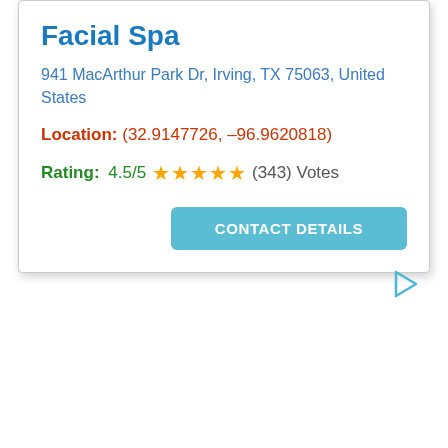Facial Spa
941 MacArthur Park Dr, Irving, TX 75063, United States
Location: (32.9147726, –96.9620818)
Rating: 4.5/5 ★★★★★ (343) Votes
CONTACT DETAILS